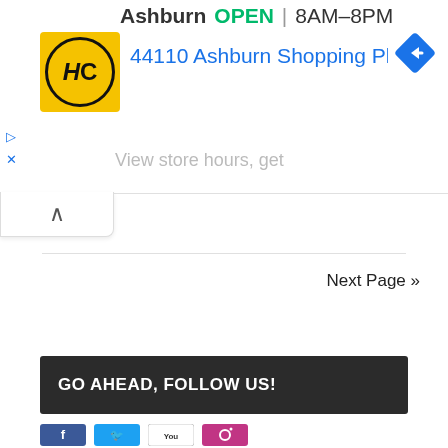[Figure (screenshot): Mobile web browser showing a local business listing ad. Top line shows 'Ashburn OPEN | 8AM–8PM'. Below is an HC logo (yellow square with black circle HC text), address '44110 Ashburn Shopping Plaza 1.' in blue, and a blue navigation arrow icon. Small ad controls (play and X buttons) on the left. Partially visible 'View store hours, get' text. A collapse/chevron button at bottom of ad.]
Next Page »
GO AHEAD, FOLLOW US!
[Figure (screenshot): Row of social media icons: Facebook (blue), Twitter (light blue), YouTube (white with red), Instagram (camera)]